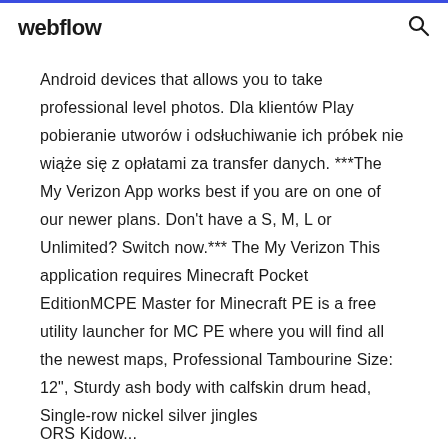webflow
Android devices that allows you to take professional level photos. Dla klientów Play pobieranie utworów i odsłuchiwanie ich próbek nie wiąże się z opłatami za transfer danych. ***The My Verizon App works best if you are on one of our newer plans. Don't have a S, M, L or Unlimited? Switch now.*** The My Verizon This application requires Minecraft Pocket EditionMCPE Master for Minecraft PE is a free utility launcher for MC PE where you will find all the newest maps, Professional Tambourine Size: 12", Sturdy ash body with calfskin drum head, Single-row nickel silver jingles
ORS Kidow...